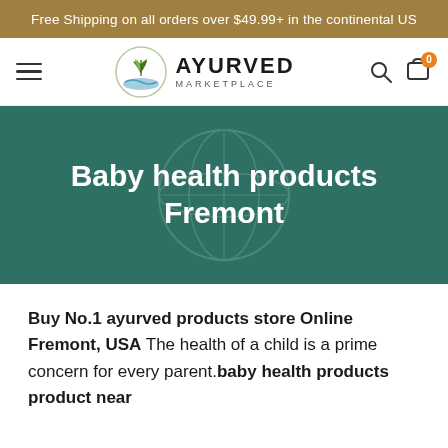Free Shipping on all orders over $49.99+ in the continental US
[Figure (logo): Ayurved Marketplace logo with leaf/plant emblem, hamburger menu icon, search icon, and cart icon with 0 badge]
Baby health products Fremont
Buy No.1 ayurved products store Online Fremont, USA The health of a child is a prime concern for every parent.baby health products product near